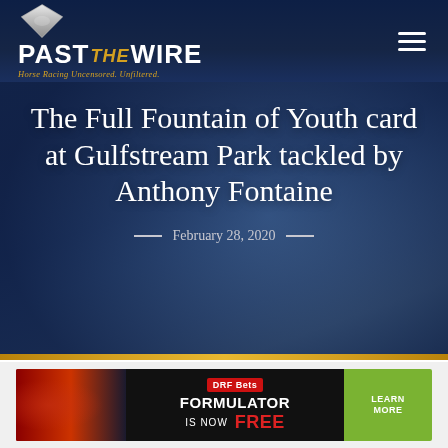[Figure (logo): Past The Wire logo with diamond icon and tagline 'Horse Racing Uncensored. Unfiltered.']
The Full Fountain of Youth card at Gulfstream Park tackled by Anthony Fontaine
— February 28, 2020 —
[Figure (photo): DRF Bets advertisement banner: 'FORMULATOR IS NOW FREE' with horse racing photo and 'LEARN MORE' button]